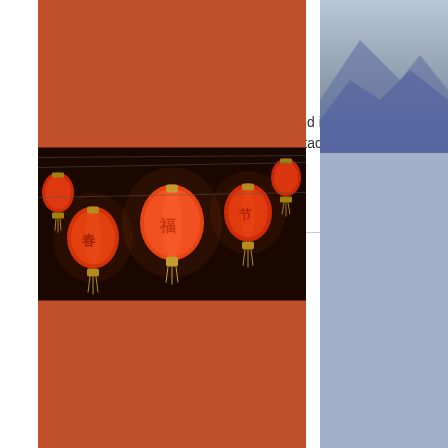False Creek ·  ·  ·  ·  ·  ·  ·  ·  ·  ·  ·  ·  ·  ·
Show all
How to Get There
False Creek faces downtown Vancouver and is easily accessible via public transport. Take the SkyTrain to Stadium-Chinatown (Expo line), Main Street-Scienc…
Show all
Trip ideas
[Figure (photo): Red Chinese lanterns hanging at night, Chinatown scene]
[Figure (photo): Mountain or landscape photo, partially visible on right side]